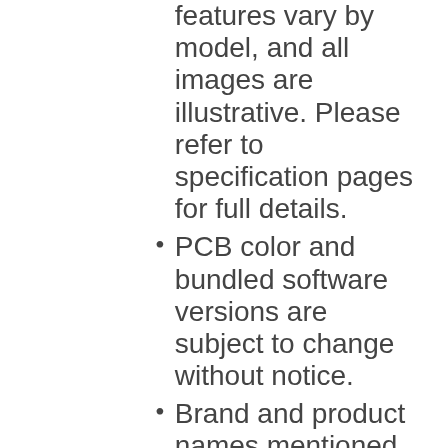features vary by model, and all images are illustrative. Please refer to specification pages for full details.
PCB color and bundled software versions are subject to change without notice.
Brand and product names mentioned are trademarks of their respective companies.
Unless otherwise stated, all performance